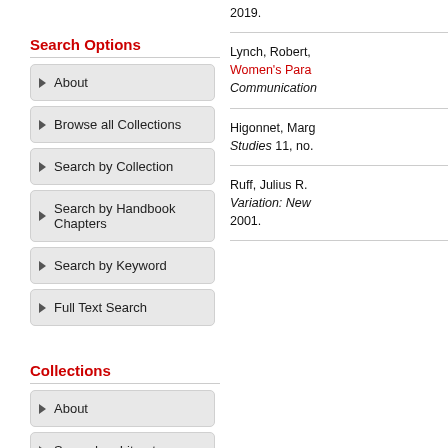2019.
Search Options
About
Browse all Collections
Search by Collection
Search by Handbook Chapters
Search by Keyword
Full Text Search
Collections
About
Secondary Literature
Lynch, Robert, Women's Para... Communication...
Higonnet, Marg... Studies 11, no....
Ruff, Julius R. Variation: New 2001.